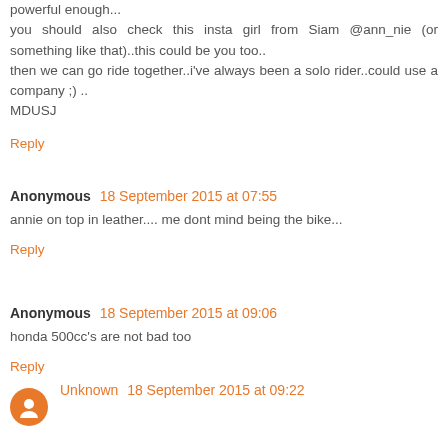powerful enough...
you should also check this insta girl from Siam @ann_nie (or something like that)..this could be you too..
then we can go ride together..i've always been a solo rider..could use a company ;) ..
MDUSJ
Reply
Anonymous 18 September 2015 at 07:55
annie on top in leather.... me dont mind being the bike...
Reply
Anonymous 18 September 2015 at 09:06
honda 500cc's are not bad too
Reply
Unknown 18 September 2015 at 09:22